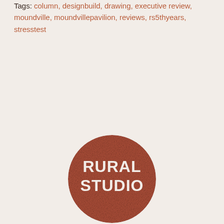Tags: column, designbuild, drawing, executive review, moundville, moundvillepavilion, reviews, rs5thyears, stresstest
[Figure (logo): Rural Studio circular logo — dark terracotta/rust colored circle with white bold text reading RURAL STUDIO in two lines]